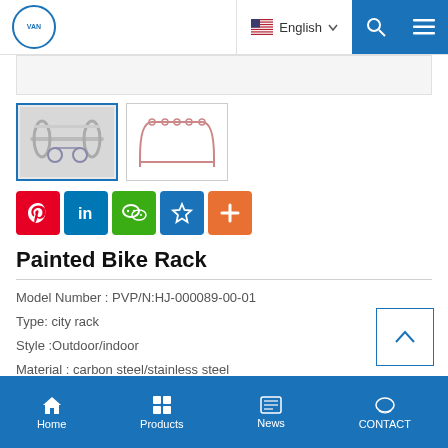VAN logo | English | Search | Menu
[Figure (photo): Two thumbnail images of a painted bike rack product — first shows actual photo of white metal bike rack, second shows a line drawing/illustration of the rack]
[Figure (infographic): Social sharing icons row: Pinterest, LinkedIn, WeChat, Qzone star, Plus/More]
Painted Bike Rack
Model Number : PVP/N:HJ-000089-00-01
Type: city rack
Style :Outdoor/indoor
Material : carbon steel/stainless steel
Loading: according customer space size,we can design according the
Home | Products | News | CONTACT